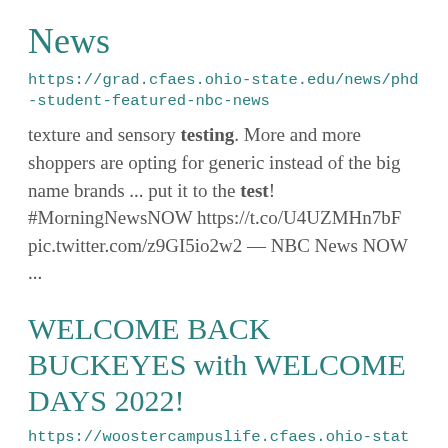News
https://grad.cfaes.ohio-state.edu/news/phd-student-featured-nbc-news
texture and sensory testing. More and more shoppers are opting for generic instead of the big name brands ... put it to the test! #MorningNewsNOW https://t.co/U4UZMHn7bF pic.twitter.com/z9GI5io2w2 — NBC News NOW ...
WELCOME BACK BUCKEYES with WELCOME DAYS 2022!
https://woostercampuslife.cfaes.ohio-state.edu/august-15-21-2022/welcome-back-buckeyes-welcome-days-2022